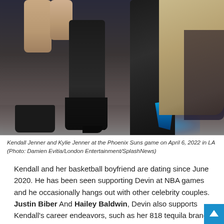[Figure (photo): Close-up photo of legs and boots of Kendall Jenner and Kylie Jenner at the Phoenix Suns game on April 6, 2022 in LA. Black leather knee-high and thigh-high boots, one person in a tan trench coat, blue light accents at the base of boots on a dark floor.]
Kendall Jenner and Kylie Jenner at the Phoenix Suns game on April 6, 2022 in LA (Photo: Damien Evitia/London Entertainment/SplashNews)
Kendall and her basketball boyfriend are dating since June 2020. He has been seen supporting Devin at NBA games and he occasionally hangs out with other celebrity couples. Justin Biber And Hailey Baldwin, Devin also supports Kendall's career endeavors, such as her 818 tequila brand.